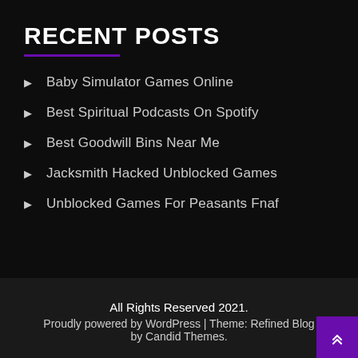RECENT POSTS
Baby Simulator Games Online
Best Spiritual Podcasts On Spotify
Best Goodwill Bins Near Me
Jacksmith Hacked Unblocked Games
Unblocked Games For Peasants Fnaf
All Rights Reserved 2021.
Proudly powered by WordPress | Theme: Refined Blog by Candid Themes.